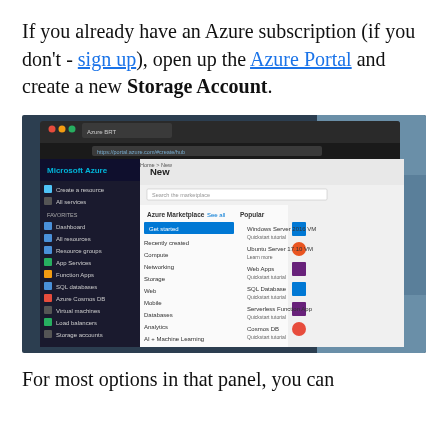If you already have an Azure subscription (if you don't - sign up), open up the Azure Portal and create a new Storage Account.
[Figure (screenshot): Screenshot of Microsoft Azure Portal in a browser, showing the 'New' panel with Azure Marketplace categories (Get started, Recently created, Compute, Networking, Storage, Web, Mobile, Databases, Analytics, AI + Machine Learning, Internet of Things, Integration, Security, Identity, Developer tools) on the left, and Popular items (Windows Server 2016 VM, Ubuntu Server 17.10 VM, Web Apps, SQL Database, Serverless Function App, Cosmos DB, Kubernetes Service, DevOps Project) on the right with colored icons.]
For most options in that panel, you can